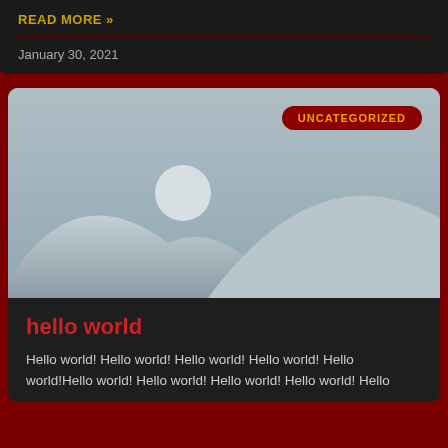READ MORE »
January 30, 2021
[Figure (illustration): Placeholder image with grey gradient background showing mountain silhouettes and a circular sun/moon shape, with a red badge labeled UNCATEGORIZED in the top right corner]
hello world
Hello world! Hello world! Hello world! Hello world! Hello world!Hello world! Hello world! Hello world! Hello world! Hello